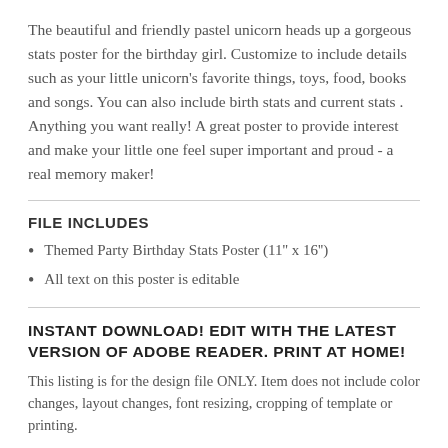The beautiful and friendly pastel unicorn heads up a gorgeous stats poster for the birthday girl. Customize to include details such as your little unicorn's favorite things, toys, food, books and songs. You can also include birth stats and current stats . Anything you want really! A great poster to provide interest and make your little one feel super important and proud - a real memory maker!
FILE INCLUDES
Themed Party Birthday Stats Poster (11'' x 16'')
All text on this poster is editable
INSTANT DOWNLOAD! EDIT WITH THE LATEST VERSION OF ADOBE READER. PRINT AT HOME!
This listing is for the design file ONLY. Item does not include color changes, layout changes, font resizing, cropping of template or printing.